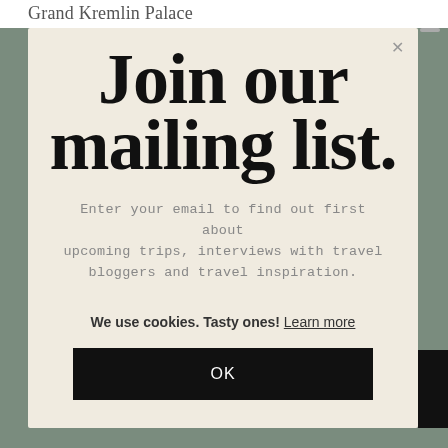Grand Kremlin Palace
Join our mailing list.
Enter your email to find out first about upcoming trips, interviews with travel bloggers and travel inspiration.
We use cookies. Tasty ones! Learn more
OK